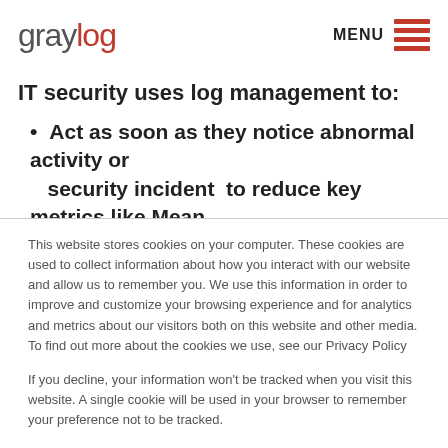graylog | MENU
IT security uses log management to:
Act as soon as they notice abnormal activity or security incident  to reduce key metrics like Mean
This website stores cookies on your computer. These cookies are used to collect information about how you interact with our website and allow us to remember you. We use this information in order to improve and customize your browsing experience and for analytics and metrics about our visitors both on this website and other media. To find out more about the cookies we use, see our Privacy Policy
If you decline, your information won't be tracked when you visit this website. A single cookie will be used in your browser to remember your preference not to be tracked.
Accept | Decline